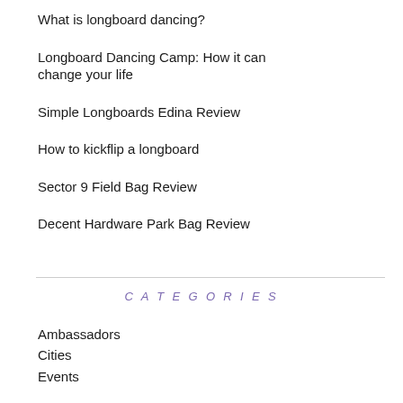What is longboard dancing?
Longboard Dancing Camp: How it can change your life
Simple Longboards Edina Review
How to kickflip a longboard
Sector 9 Field Bag Review
Decent Hardware Park Bag Review
CATEGORIES
Ambassadors
Cities
Events